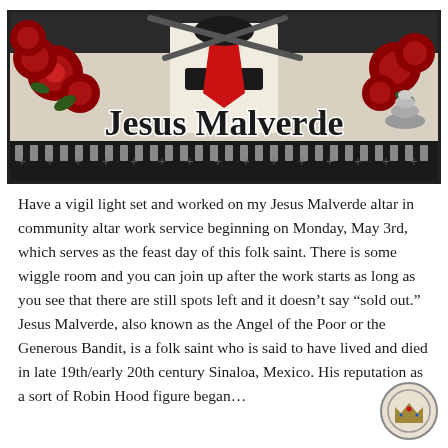[Figure (illustration): Decorative banner image for Jesus Malverde featuring a stylized figure in white shirt with red tie, red roses on left and right sides, stacked stones on far right, dark decorative border at bottom with cross motifs, and bold text reading 'Jesus Malverde' across the bottom of the banner.]
Have a vigil light set and worked on my Jesus Malverde altar in community altar work service beginning on Monday, May 3rd, which serves as the feast day of this folk saint. There is some wiggle room and you can join up after the work starts as long as you see that there are still spots left and it doesn't say "sold out." Jesus Malverde, also known as the Angel of the Poor or the Generous Bandit, is a folk saint who is said to have lived and died in late 19th/early 20th century Sinaloa, Mexico. His reputation as a sort of Robin Hood figure began...